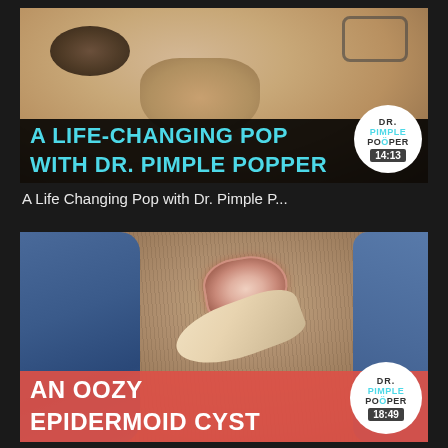[Figure (screenshot): Video thumbnail for 'A Life-Changing Pop with Dr. Pimple Popper' showing a close-up of a person's face with text overlay and Dr. Pimple Popper logo. Duration shown: 14:13]
A Life Changing Pop with Dr. Pimple P...
[Figure (screenshot): Video thumbnail for 'An Oozy Epidermoid Cyst' showing a close-up of a scalp with an open cyst and gloved hand. Dr. Pimple Popper logo shown. Duration: 18:49]